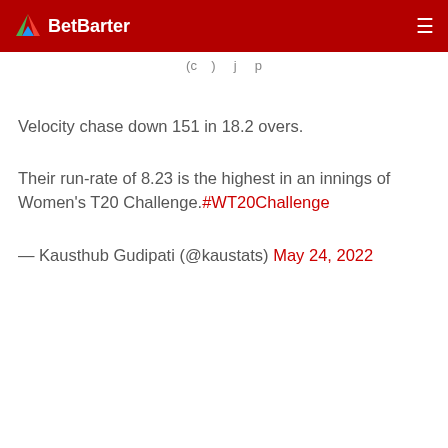BetBarter
Velocity chase down 151 in 18.2 overs.
Their run-rate of 8.23 is the highest in an innings of Women's T20 Challenge. #WT20Challenge
— Kausthub Gudipati (@kaustats) May 24, 2022